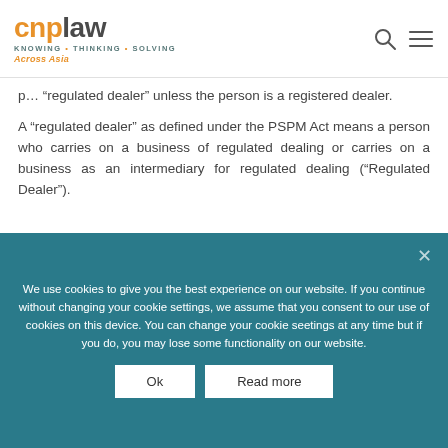cnplaw - KNOWING • THINKING • SOLVING Across Asia
"regulated dealer" unless the person is a registered dealer.
A "regulated dealer" as defined under the PSPM Act means a person who carries on a business of regulated dealing or carries on a business as an intermediary for regulated dealing ("Regulated Dealer").
We use cookies to give you the best experience on our website. If you continue without changing your cookie settings, we assume that you consent to our use of cookies on this device. You can change your cookie seetings at any time but if you do, you may lose some functionality on our website.